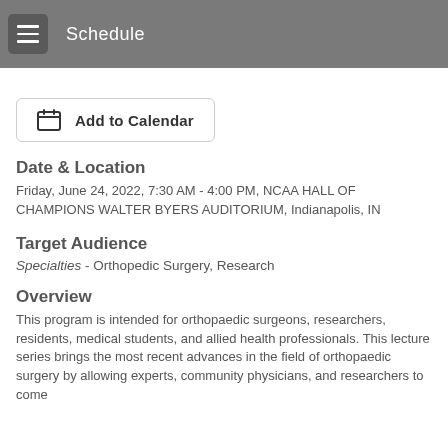Schedule
Add to Calendar
Date & Location
Friday, June 24, 2022, 7:30 AM - 4:00 PM, NCAA HALL OF CHAMPIONS WALTER BYERS AUDITORIUM, Indianapolis, IN
Target Audience
Specialties - Orthopedic Surgery, Research
Overview
This program is intended for orthopaedic surgeons, researchers, residents, medical students, and allied health professionals. This lecture series brings the most recent advances in the field of orthopaedic surgery by allowing experts, community physicians, and researchers to come